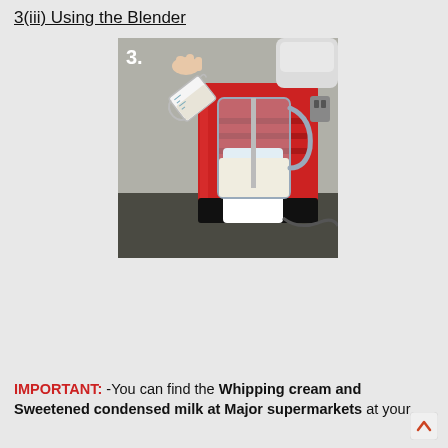3(iii) Using the Blender
[Figure (photo): Photo numbered '3.' showing a hand pouring liquid from a small measuring jug into a clear blender jar mounted on a white base, in front of a red blender machine on a kitchen counter.]
IMPORTANT: -You can find the Whipping cream and Sweetened condensed milk at Major supermarkets at your